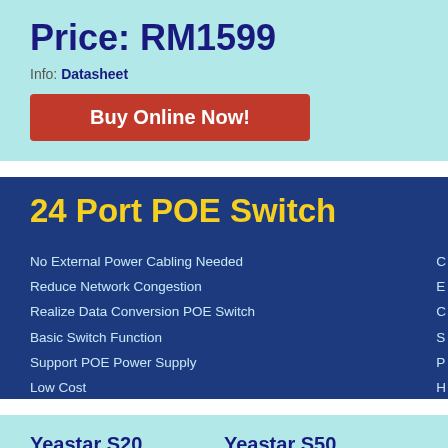Price: RM1599
Info: Datasheet
Buy Online Now!
24 Port POE Switch
No External Power Cabling Needed
Reduce Network Congestion
Realize Data Conversion POE Switch
Basic Switch Function
Support POE Power Supply
Low Cost
C
E
C
S
P
H
Yeastar S20
Price: RM 1425
Yeastar S50
Price: RM 2805